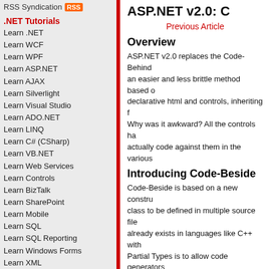RSS Syndication RSS
ASP.NET v2.0: C
.NET Tutorials
Learn .NET
Learn WCF
Learn WPF
Learn ASP.NET
Learn AJAX
Learn Silverlight
Learn Visual Studio
Learn ADO.NET
Learn LINQ
Learn C# (CSharp)
Learn VB.NET
Learn Web Services
Learn Controls
Learn BizTalk
Learn SharePoint
Learn Mobile
Learn SQL
Learn SQL Reporting
Learn Windows Forms
Learn XML
Learn Crystal Reports
Learn FarPoint
Learn DevExpress
Examples
ASP.NET 2.0 Examples
ASP Tutorials
Previous Article
Overview
ASP.NET v2.0 replaces the Code-Behind an easier and less brittle method based on declarative html and controls, inheriting f Why was it awkward? All the controls ha actually code against them in the various
Introducing Code-Beside
Code-Beside is based on a new constru class to be defined in multiple source file already exists in languages like C++ with Partial Types is to allow code generators any re-generation. The ASP.NET team d ASPX declarative Page and the associat
Code-Beside Syntax
The ASPX declarative Page should still s Beside are now compilewith and classn and inherits: